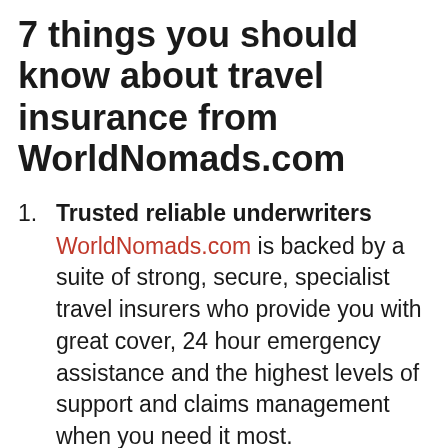7 things you should know about travel insurance from WorldNomads.com
Trusted reliable underwriters
WorldNomads.com is backed by a suite of strong, secure, specialist travel insurers who provide you with great cover, 24 hour emergency assistance and the highest levels of support and claims management when you need it most.
Value for money with the cover you need
WorldNomads.com provides cover